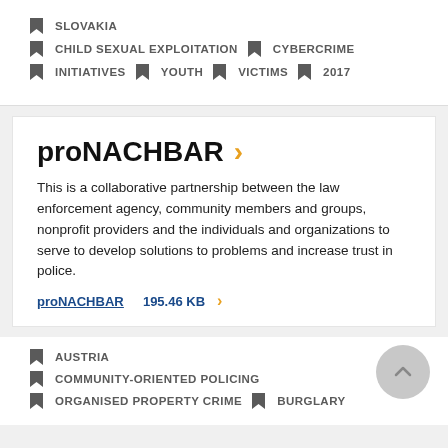SLOVAKIA
CHILD SEXUAL EXPLOITATION   CYBERCRIME
INITIATIVES   YOUTH   VICTIMS   2017
proNACHBAR >
This is a collaborative partnership between the law enforcement agency, community members and groups, nonprofit providers and the individuals and organizations to serve to develop solutions to problems and increase trust in police.
proNACHBAR   195.46 KB   >
AUSTRIA
COMMUNITY-ORIENTED POLICING
ORGANISED PROPERTY CRIME   BURGLARY